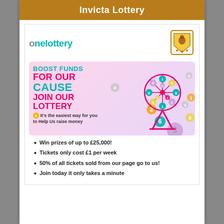Invicta Lottery
[Figure (logo): OneLottery logo and club crest]
[Figure (infographic): Promotional banner: BOOST FUNDS FOR OUR CAUSE JOIN OUR LOTTERY with lottery wheel illustration and numbered balls]
Win prizes of up to £25,000!
Tickets only cost £1 per week
50% of all tickets sold from our page go to us!
Join today it only takes a minute